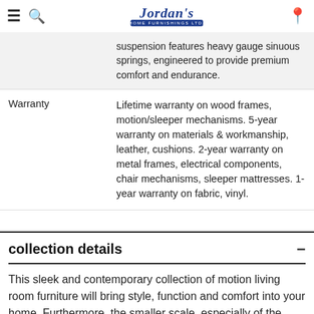Jordan's Home Furnishings Ltd.
|  | suspension features heavy gauge sinuous springs, engineered to provide premium comfort and endurance. |
| Warranty | Lifetime warranty on wood frames, motion/sleeper mechanisms. 5-year warranty on materials & workmanship, leather, cushions. 2-year warranty on metal frames, electrical components, chair mechanisms, sleeper mattresses. 1-year warranty on fabric, vinyl. |
collection details
This sleek and contemporary collection of motion living room furniture will bring style, function and comfort into your home. Furthermore, the smaller scale, especially of the Wallhugger recliners, make these pieces perfect for